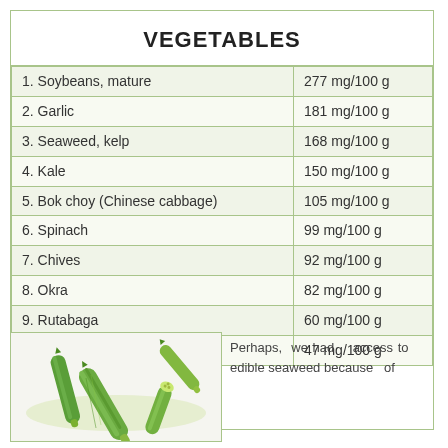VEGETABLES
|  |  |
| --- | --- |
| 1. Soybeans, mature | 277 mg/100 g |
| 2. Garlic | 181 mg/100 g |
| 3. Seaweed, kelp | 168 mg/100 g |
| 4. Kale | 150 mg/100 g |
| 5. Bok choy (Chinese cabbage) | 105 mg/100 g |
| 6. Spinach | 99 mg/100 g |
| 7. Chives | 92 mg/100 g |
| 8. Okra | 82 mg/100 g |
| 9. Rutabaga | 60 mg/100 g |
| 10. Broccoli | 47 mg/100 g |
[Figure (photo): Close-up photo of green okra pods on white background]
Perhaps, we had access to edible seaweed because of